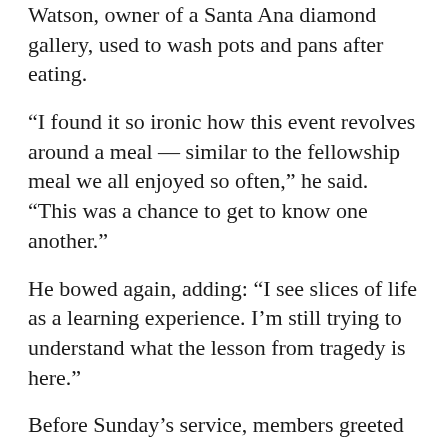Watson, owner of a Santa Ana diamond gallery, used to wash pots and pans after eating.
“I found it so ironic how this event revolves around a meal — similar to the fellowship meal we all enjoyed so often,” he said. “This was a chance to get to know one another.”
He bowed again, adding: “I see slices of life as a learning experience. I’m still trying to understand what the lesson from tragedy is here.”
Before Sunday’s service, members greeted the suspect — whom they had never seen before — and welcomed him. He told them he had attended services several times, but the members were doubtful because no one recognized him, churchgoer Jerry Chen said.
Chen, who was inside the church at the time of the shooting, said the suspect spoke to parishioners in